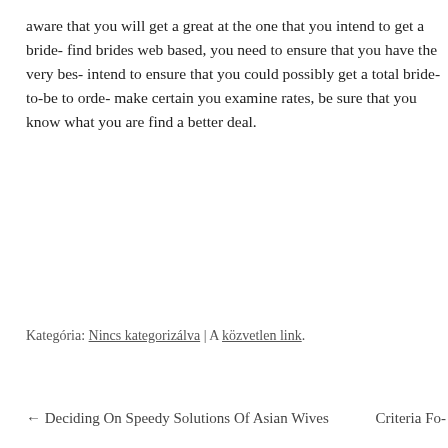aware that you will get a great at the one that you intend to get a bride- find brides web based, you need to ensure that you have the very bes- intend to ensure that you could possibly get a total bride-to-be to orde- make certain you examine rates, be sure that you know what you ar- find a better deal.
Kategória: Nincs kategorizálva | A közvetlen link.
← Deciding On Speedy Solutions Of Asian Wives   Criteria Fo-